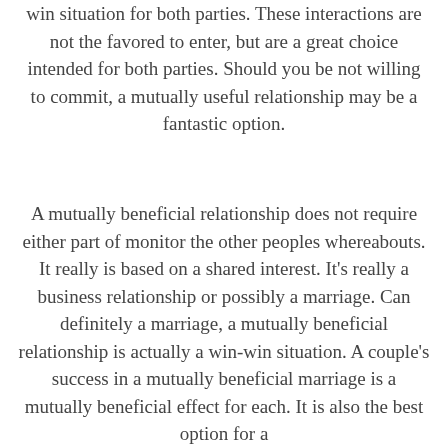win situation for both parties. These interactions are not the favored to enter, but are a great choice intended for both parties. Should you be not willing to commit, a mutually useful relationship may be a fantastic option.
A mutually beneficial relationship does not require either part of monitor the other peoples whereabouts. It really is based on a shared interest. It's really a business relationship or possibly a marriage. Can definitely a marriage, a mutually beneficial relationship is actually a win-win situation. A couple's success in a mutually beneficial marriage is a mutually beneficial effect for each. It is also the best option for a